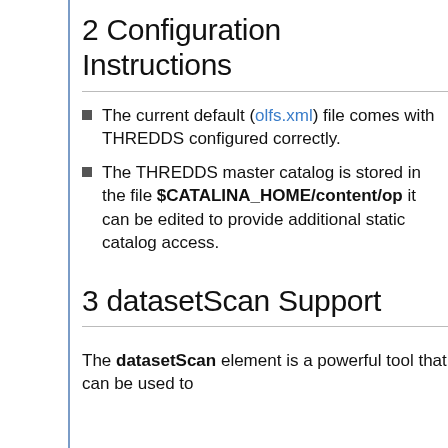2 Configuration Instructions
The current default (olfs.xml) file comes with THREDDS configured correctly.
The THREDDS master catalog is stored in the file $CATALINA_HOME/content/op it can be edited to provide additional static catalog access.
3 datasetScan Support
The datasetScan element is a powerful tool that can be used to